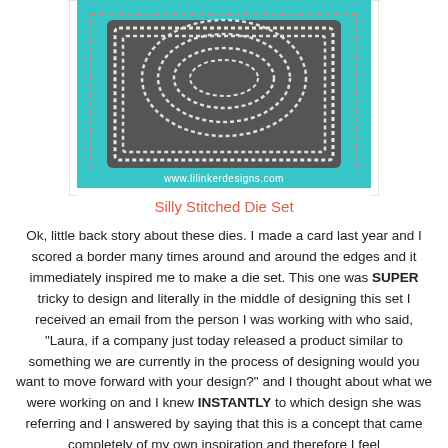[Figure (illustration): Product image of Silly Stitched Die Set from www.lilinkerdesigns.com — a teal/turquoise card design with gray panel, white stitched oval frames, and a dashed pink border. The website URL www.lilinkerdesigns.com appears at the bottom of the image.]
Silly Stitched Die Set
Ok, little back story about these dies. I made a card last year and I scored a border many times around and around the edges and it immediately inspired me to make a die set. This one was SUPER tricky to design and literally in the middle of designing this set I received an email from the person I was working with who said, "Laura, if a company just today released a product similar to something we are currently in the process of designing would you want to move forward with your design?" and I thought about what we were working on and I knew INSTANTLY to which design she was referring and I answered by saying that this is a concept that came completely of my own inspiration and therefore I feel